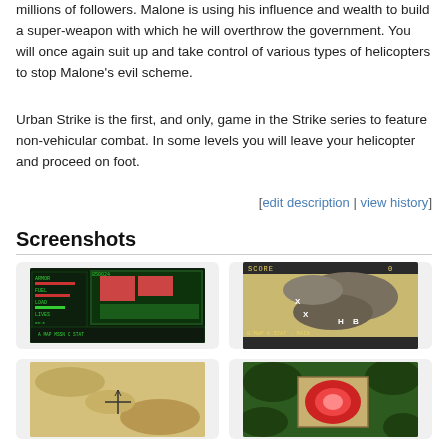millions of followers. Malone is using his influence and wealth to build a super-weapon with which he will overthrow the government. You will once again suit up and take control of various types of helicopters to stop Malone's evil scheme.
Urban Strike is the first, and only, game in the Strike series to feature non-vehicular combat. In some levels you will leave your helicopter and proceed on foot.
[edit description | view history]
Screenshots
[Figure (screenshot): Urban Strike game screenshot showing green-tinted status screen with ARMOR, FUEL, LOAD, LIVES, TIME stats and MAP/MSSN/STAT options]
[Figure (screenshot): Urban Strike game screenshot showing top-down map view with score 0, VISITORS CENTER location, markers X, H, B visible, B MAP A STAT menu]
[Figure (screenshot): Urban Strike game screenshot showing desert/sand terrain map with helicopter cross-hair marker]
[Figure (screenshot): Urban Strike game screenshot showing green jungle terrain with red explosion or damage graphic in center]